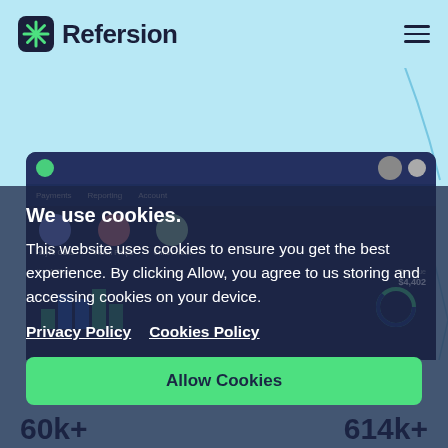Refersion
[Figure (screenshot): Refersion dashboard app screenshot showing affiliate metrics, bar chart, and profile images, partially visible behind cookie consent overlay]
We use cookies.
This website uses cookies to ensure you get the best experience. By clicking Allow, you agree to us storing and accessing cookies on your device.
Privacy Policy
Cookies Policy
Allow Cookies
Decline
We drive growth
60k+
614k+